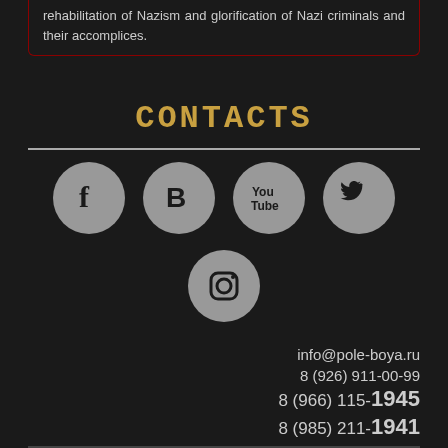rehabilitation of Nazism and glorification of Nazi criminals and their accomplices.
CONTACTS
[Figure (illustration): Social media icons row: Facebook, VKontakte (B), YouTube, Twitter, and Instagram, displayed as grey circles on dark background]
info@pole-boya.ru
8 (926) 911-00-99
8 (966) 115-1945
8 (985) 211-1941